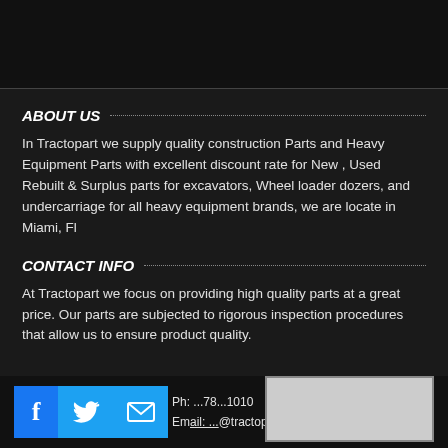ABOUT US
In Tractopart we supply quality construction Parts and Heavy Equipment Parts with excellent discount rate for New , Used Rebuilt & Surplus parts for excavators, Wheel loader dozers, and undercarriage for all heavy equipment brands, we are locate in Miami, Fl
CONTACT INFO
At Tractopart we focus on providing high quality parts at a great price. Our parts are subjected to rigorous inspection procedures that allow us to ensure product quality.
Ph: ...78...1010
Email: ...@tractopart.com
[Figure (map): Map box placeholder]